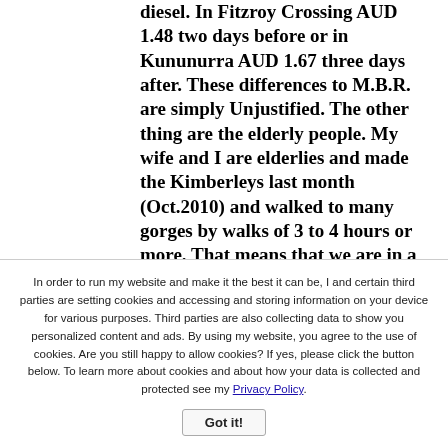diesel. In Fitzroy Crossing AUD 1.48 two days before or in Kununurra AUD 1.67 three days after. These differences to M.B.R. are simply Unjustified. The other thing are the elderly people. My wife and I are elderlies and made the Kimberleys last month (Oct.2010) and walked to many gorges by walks of 3 to 4 hours or more. That means that we are in a not so bad condition. On the other side we saw so called joung people who were not able to go e.g. to the upper pool of the Bell Gorge. That
In order to run my website and make it the best it can be, I and certain third parties are setting cookies and accessing and storing information on your device for various purposes. Third parties are also collecting data to show you personalized content and ads. By using my website, you agree to the use of cookies. Are you still happy to allow cookies? If yes, please click the button below. To learn more about cookies and about how your data is collected and protected see my Privacy Policy.
Got it!